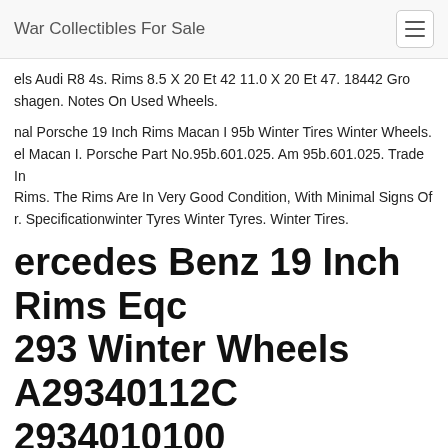War Collectibles For Sale
els Audi R8 4s. Rims 8.5 X 20 Et 42 11.0 X 20 Et 47. 18442 Gro shagen. Notes On Used Wheels.
nal Porsche 19 Inch Rims Macan I 95b Winter Tires Winter Wheels. el Macan I. Porsche Part No.95b.601.025. Am 95b.601.025. Trade In Rims. The Rims Are In Very Good Condition, With Minimal Signs Of r. Specificationwinter Tyres Winter Tyres. Winter Tires.
ercedes Benz 19 Inch Rims Eqc 293 Winter Wheels A2934011200 2934010100
Number A2934011200 A2934010100 (black, High-sheen). Tire ufacturer Pirelli Scorpion Winter Winter Tires Mo. Alloy Rims 7.5 X 1 0 X 19 Et 34. Condition The Item Is In Very Good Condition, The Ri Occasionally Show Minimal Signs Of Wear, See Photos.